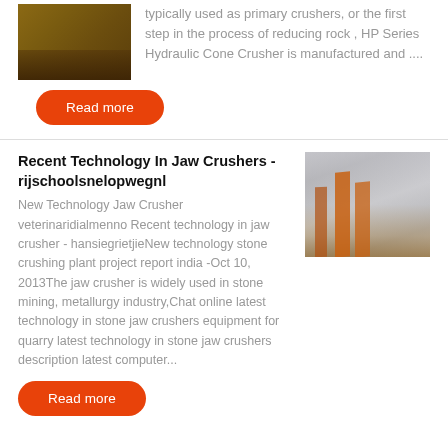[Figure (photo): Photo of a crusher machine, brownish/golden industrial equipment]
typically used as primary crushers, or the first step in the process of reducing rock , HP Series Hydraulic Cone Crusher is manufactured and ....
Read more
Recent Technology In Jaw Crushers - rijschoolsnelopwegnl
New Technology Jaw Crusher veterinaridialmenno Recent technology in jaw crusher - hansiegrietjieNew technology stone crushing plant project report india -Oct 10, 2013The jaw crusher is widely used in stone mining, metallurgy industry,Chat online latest technology in stone jaw crushers equipment for quarry latest technology in stone jaw crushers description latest computer...
[Figure (photo): Photo of metal/orange industrial jaw crusher components stacked]
Read more